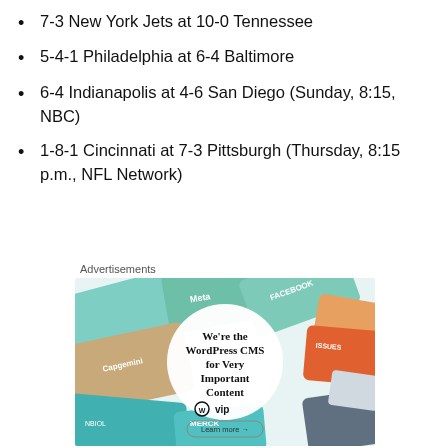7-3 New York Jets at 10-0 Tennessee
5-4-1 Philadelphia at 6-4 Baltimore
6-4 Indianapolis at 4-6 San Diego (Sunday, 8:15, NBC)
1-8-1 Cincinnati at 7-3 Pittsburgh (Thursday, 8:15 p.m., NFL Network)
Advertisements
[Figure (photo): Advertisement for WordPress VIP CMS with colorful overlapping cards and logos. Center circle reads: We're the WordPress CMS for Very Important Content, with WordPress VIP logo and Learn more arrow link.]